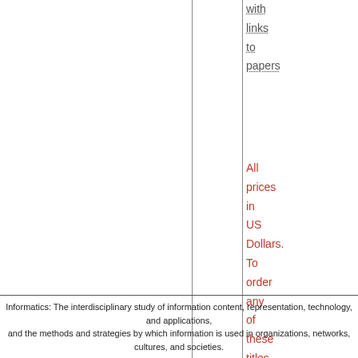with links to papers
All prices in US Dollars. To order any of these titles, please return our Order Form.
Informatics: The interdisciplinary study of information content, representation, technology, and applications, and the methods and strategies by which information is used in organizations, networks, cultures, and societies.